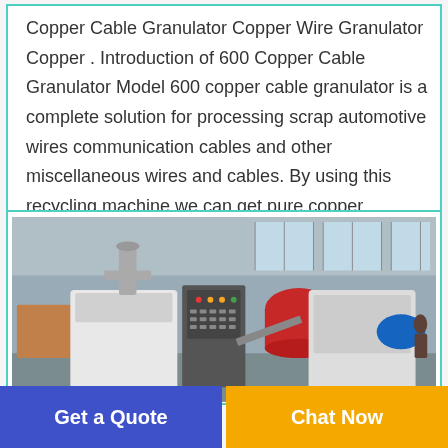Copper Cable Granulator Copper Wire Granulator Copper . Introduction of 600 Copper Cable Granulator Model 600 copper cable granulator is a complete solution for processing scrap automotive wires communication cables and other miscellaneous wires and cables. By using this recycling machine we can get pure copper granules and plastic pieces.
[Figure (photo): Photo of a copper cable granulator machine system inside an industrial warehouse. The machinery includes a white granulator unit, a red cylindrical component, a control panel, and a shredder unit on the right. The background shows a large warehouse with skylights.]
Get a Quote
Chat Now